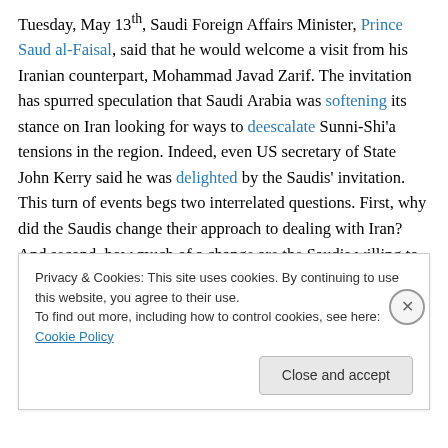Tuesday, May 13th, Saudi Foreign Affairs Minister, Prince Saud al-Faisal, said that he would welcome a visit from his Iranian counterpart, Mohammad Javad Zarif. The invitation has spurred speculation that Saudi Arabia was softening its stance on Iran looking for ways to deescalate Sunni-Shi'a tensions in the region. Indeed, even US secretary of State John Kerry said he was delighted by the Saudis' invitation. This turn of events begs two interrelated questions. First, why did the Saudis change their approach to dealing with Iran? And second, how much of a change are the Saudis willing to make?
Privacy & Cookies: This site uses cookies. By continuing to use this website, you agree to their use.
To find out more, including how to control cookies, see here: Cookie Policy